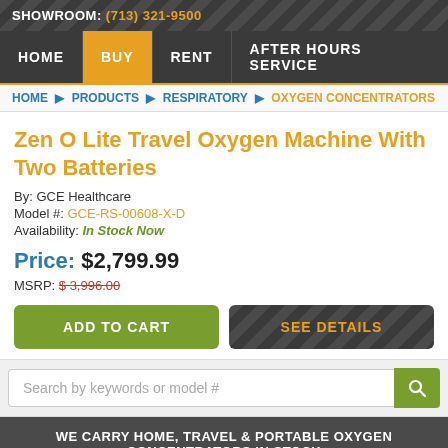SHOWROOM: (713) 321-9500
HOME | BUY | RENT | AFTER HOURS SERVICE
HOME ▶ PRODUCTS ▶ RESPIRATORY ▶ OXYGEN CONCENTRATORS
Zen O Lite Travel Oxygen Machine With Two Batteries
By: GCE Healthcare
Model #: GCE-RS-00608-X-D
Availability: In Stock Now
Price: $2,799.99
MSRP: $3,996.00
ADD TO CART
SEE DETAILS
Search by keywords or model #
WE CARRY HOME, TRAVEL & PORTABLE OXYGEN CONCENTRATORS IN STOCK
DROP THE TANK NOW